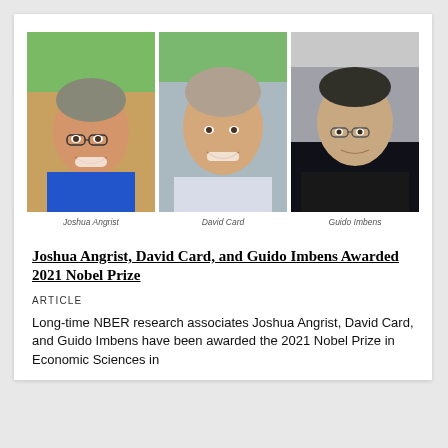[Figure (photo): Three headshot photos side by side: Joshua Angrist (smiling man with glasses, blue shirt, outdoor green background), David Card (smiling man, light shirt, green background), and Guido Imbens (man with glasses looking up, dark background). Each photo has a caption below with the person's name in italic.]
Joshua Angrist, David Card, and Guido Imbens Awarded 2021 Nobel Prize
ARTICLE
Long-time NBER research associates Joshua Angrist, David Card, and Guido Imbens have been awarded the 2021 Nobel Prize in Economic Sciences in